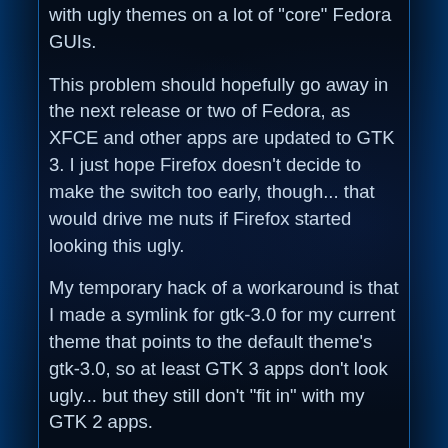with ugly themes on a lot of 'core' Fedora GUIs.
This problem should hopefully go away in the next release or two of Fedora, as XFCE and other apps are updated to GTK 3. I just hope Firefox doesn't decide to make the switch too early, though... that would drive me nuts if Firefox started looking this ugly.
My temporary hack of a workaround is that I made a symlink for gtk-3.0 for my current theme that points to the default theme's gtk-3.0, so at least GTK 3 apps don't look ugly... but they still don't "fit in" with my GTK 2 apps.
Volume Control Applet
GNOME's volume control applet used to be a program that puts an icon in your Notification Area to